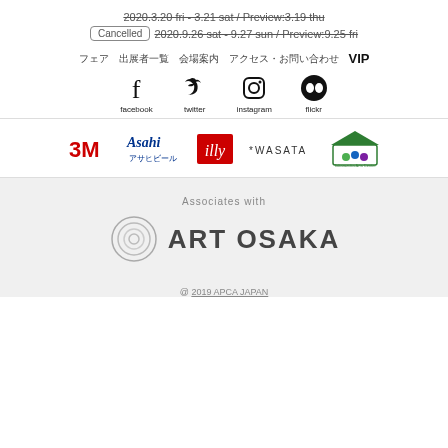2020.3.20 fri - 3.21 sat / Preview:3.19 thu (strikethrough)
Cancelled 2020.9.26 sat - 9.27 sun / Preview:9.25 fri (strikethrough)
フェア 出展者一覧 会場案内 アクセス・お問い合わせ VIP
[Figure (logo): Social media icons: facebook, twitter, instagram, flickr]
[Figure (logo): Sponsor logos: 3M, Asahi Beer, illy, WASATA, Takarazuka Arts Center]
Associates with
[Figure (logo): ART OSAKA logo with concentric circles]
@ 2019 APCA JAPAN